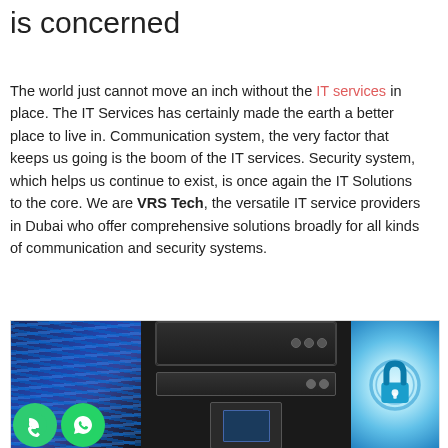is concerned
The world just cannot move an inch without the IT services in place. The IT Services has certainly made the earth a better place to live in. Communication system, the very factor that keeps us going is the boom of the IT services. Security system, which helps us continue to exist, is once again the IT Solutions to the core. We are VRS Tech, the versatile IT service providers in Dubai who offer comprehensive solutions broadly for all kinds of communication and security systems.
[Figure (photo): A collage of IT-related images: network cables and server room on left with phone/WhatsApp icons overlaid, a DVR/NVR security recorder device in the center, and a security lock icon on a blue digital background on the right.]